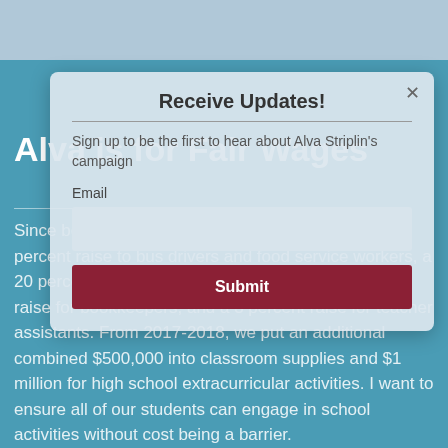Alva is for Fair Wages
Since being elected, we found money to give a 12.5 percent raise to bus drivers and food service workers, a 20 percent raise for substitute teachers, a 15 percent raise for bookkeepers, and a 3 percent raise for teacher assistants. From 2017-2018, we put an additional combined $500,000 into classroom supplies and $1 million for high school extracurricular activities. I want to ensure all of our students can engage in school activities without cost being a barrier.
[Figure (screenshot): Modal popup overlay with 'Receive Updates!' header, subtitle 'Sign up to be the first to hear about Alva Striplin's campaign', an Email label with input field, and a dark red Submit button.]